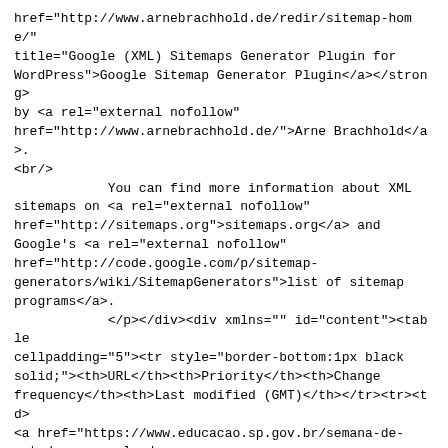href="http://www.arnebrachhold.de/redir/sitemap-home/" title="Google (XML) Sitemaps Generator Plugin for WordPress">Google Sitemap Generator Plugin</a></strong> by <a rel="external nofollow" href="http://www.arnebrachhold.de/">Arne Brachhold</a>.<br/>
            You can find more information about XML sitemaps on <a rel="external nofollow" href="http://sitemaps.org">sitemaps.org</a> and Google's <a rel="external nofollow" href="http://code.google.com/p/sitemap-generators/wiki/SitemapGenerators">list of sitemap programs</a>.
            </p></div><div xmlns="" id="content"><table cellpadding="5"><tr style="border-bottom:1px black solid;"><th>URL</th><th>Priority</th><th>Change frequency</th><th>Last modified (GMT)</th></tr><tr><td><a href="https://www.educacao.sp.gov.br/semana-de-estudos-a-escola-dos-nossos-sonhos/">https://www.educacao.sp.gov.br/semana-de-estudos-a-escola-dos-nossos-sonhos/</a></td><td>20%</td><td>Monthly</td><td>2002-11-29 17:46</td></tr><tr class="high"><td><a href="https://www.educacao.sp.gov.br/corais-de-alunos-das-escolas-estaduais-comecam-a-se-apresentar-na-secretaria-da-educacao-2/">https://www.educacao.sp.gov.br/corais-de-alunos-das-escolas-estaduais-comecam-a-se-apresentar-na-secretaria-da-educacao-2/</a></td><td>20%</td><td>Monthly</td><td>2002-11-29 17:41</td></tr><tr><td>